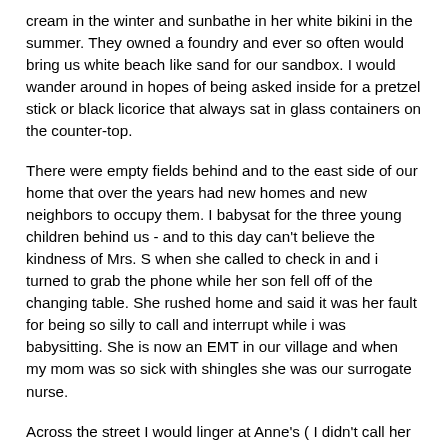cream in the winter and sunbathe in her white bikini in the summer.  They owned a foundry and ever so often would bring us white beach like sand for our sandbox.  I would wander around in hopes of being asked inside for a pretzel stick or black licorice that always sat in glass containers on the counter-top.
There were empty fields behind and to the east side of our home that over the years had new homes and new neighbors to occupy them.  I babysat for the three young children behind us - and to this day can't believe the kindness of Mrs. S when she called to check in and i turned to grab the phone while her son fell off of the changing table.  She rushed home and said it was her fault for being so silly to call and interrupt while i was babysitting.  She is now an EMT in our village and when my mom was so sick with shingles she was our surrogate nurse.
Across the street I would linger at Anne's ( I didn't call her Mrs.) while she made her famous pasta sauce and discovered how good peaches tasted with cream and sugar.  I learned about the love and sacrifice of adoption when they